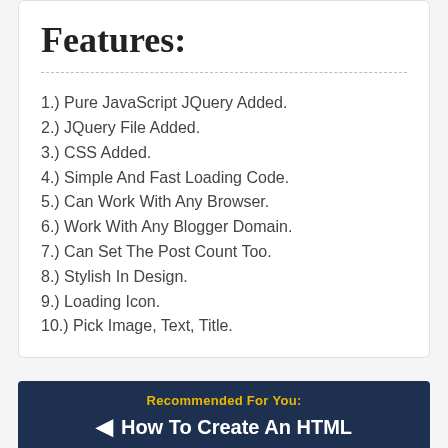Features:
1.) Pure JavaScript JQuery Added.
2.) JQuery File Added.
3.) CSS Added.
4.) Simple And Fast Loading Code.
5.) Can Work With Any Browser.
6.) Work With Any Blogger Domain.
7.) Can Set The Post Count Too.
8.) Stylish In Design.
9.) Loading Icon.
10.) Pick Image, Text, Title.
Recommended For You:
How To Create An HTML